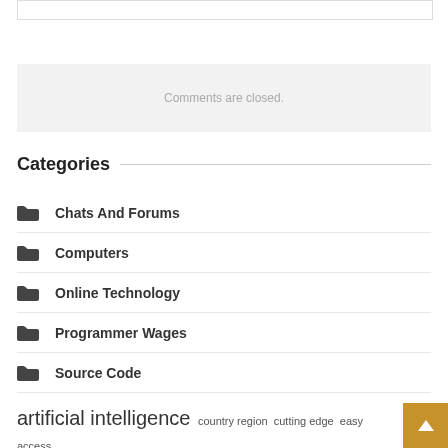Comments are closed.
Categories
Chats And Forums
Computers
Online Technology
Programmer Wages
Source Code
artificial intelligence  country region  cutting edge  easy access